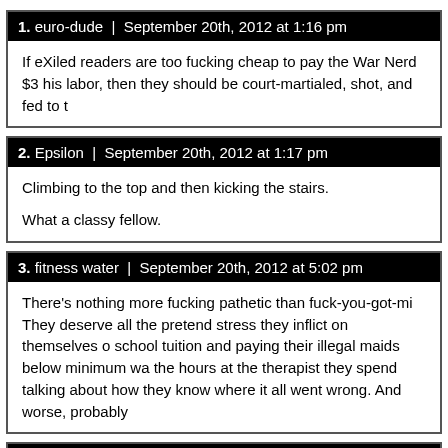1. euro-dude | September 20th, 2012 at 1:16 pm
If eXiled readers are too fucking cheap to pay the War Nerd $3 his labor, then they should be court-martialed, shot, and fed to t
2. Epsilon | September 20th, 2012 at 1:17 pm
Climbing to the top and then kicking the stairs.
What a classy fellow.
3. fitness water | September 20th, 2012 at 5:02 pm
There's nothing more fucking pathetic than fuck-you-got-mi They deserve all the pretend stress they inflict on themselves o school tuition and paying their illegal maids below minimum wa the hours at the therapist they spend talking about how they know where it all went wrong. And worse, probably